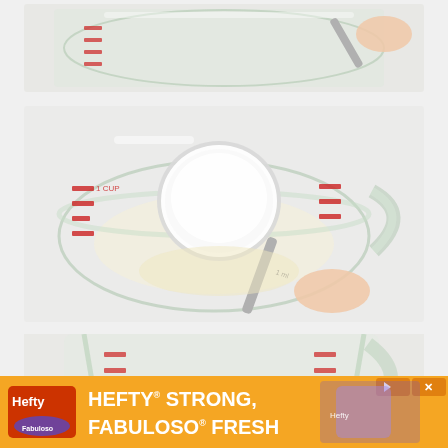[Figure (photo): Top photo: close-up of a glass measuring cup with red markings, a hand holding a measuring spoon over it, white substance being measured]
[Figure (photo): Middle photo: overhead view of a glass measuring cup with red markings containing a small amount of liquid, a large measuring spoon filled with white powder (sugar/salt) being held over it by a hand]
[Figure (photo): Bottom photo (partially cropped): glass measuring cup with red markings viewed from the side, similar to above, a small measuring spoon visible at bottom]
[Figure (photo): Advertisement banner at bottom: orange background with Hefty and Fabuloso logos, text reading HEFTY STRONG, FABULOSO FRESH, with product imagery on right side and close/skip controls]